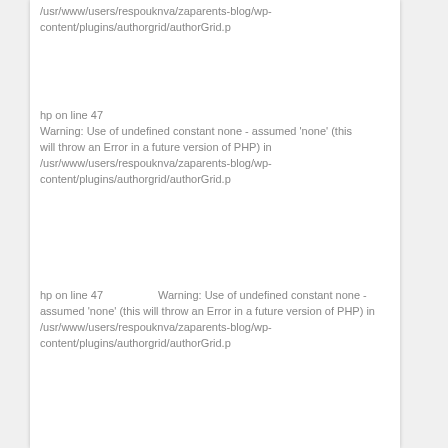/usr/www/users/respouknva/zaparents-blog/wp-content/plugins/authorgrid/authorGrid.p
hp on line 47
Warning: Use of undefined constant none - assumed 'none' (this will throw an Error in a future version of PHP) in /usr/www/users/respouknva/zaparents-blog/wp-content/plugins/authorgrid/authorGrid.p
hp on line 47                    Warning: Use of undefined constant none - assumed 'none' (this will throw an Error in a future version of PHP) in /usr/www/users/respouknva/zaparents-blog/wp-content/plugins/authorgrid/authorGrid.p